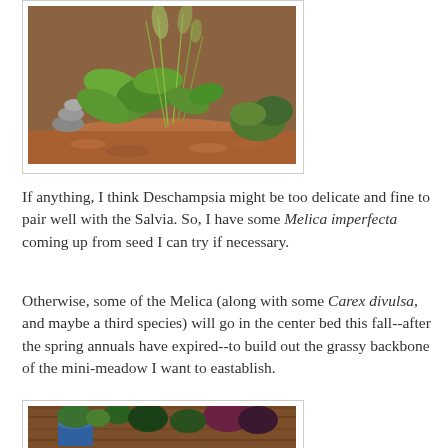[Figure (photo): A garden bed with green plants including large-leafed Salvia and ornamental grasses growing in reddish-brown mulch, with stacked stones visible on the left side and a wooden fence in the background.]
If anything, I think Deschampsia might be too delicate and fine to pair well with the Salvia. So, I have some Melica imperfecta coming up from seed I can try if necessary.
Otherwise, some of the Melica (along with some Carex divulsa, and maybe a third species) will go in the center bed this fall--after the spring annuals have expired--to build out the grassy backbone of the mini-meadow I want to eastablish.
[Figure (photo): A garden area with containers and plants against a wooden fence background, partial view.]